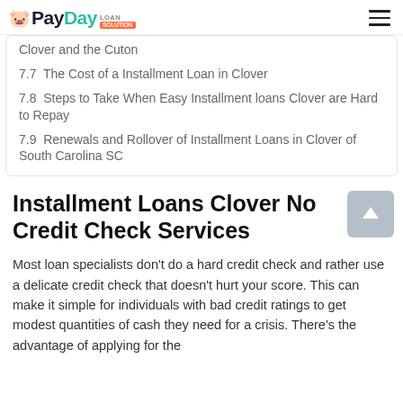PayDay Loan Solution
Clover and the Cuton
7.7  The Cost of a Installment Loan in Clover
7.8  Steps to Take When Easy Installment loans Clover are Hard to Repay
7.9  Renewals and Rollover of Installment Loans in Clover of South Carolina SC
Installment Loans Clover No Credit Check Services
Most loan specialists don't do a hard credit check and rather use a delicate credit check that doesn't hurt your score. This can make it simple for individuals with bad credit ratings to get modest quantities of cash they need for a crisis. There's the advantage of applying for the